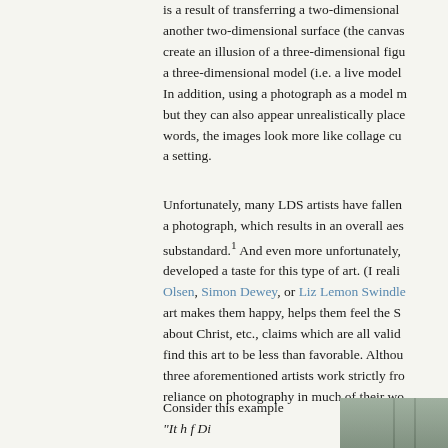is a result of transferring a two-dimensional another two-dimensional surface (the canvas) create an illusion of a three-dimensional figu a three-dimensional model (i.e. a live model) In addition, using a photograph as a model m but they can also appear unrealistically place words, the images look more like collage cu a setting.
Unfortunately, many LDS artists have fallen a photograph, which results in an overall aes substandard.¹ And even more unfortunately, developed a taste for this type of art. (I reali Olsen, Simon Dewey, or Liz Lemon Swindle art makes them happy, helps them feel the S about Christ, etc., claims which are all valid find this art to be less than favorable. Althou three aforementioned artists work strictly fro reliance on photography in much of their wo
Consider this example "It h f Di
[Figure (photo): Partial image of what appears to be a painting or photograph, showing masts or poles against a stormy or dramatic sky]